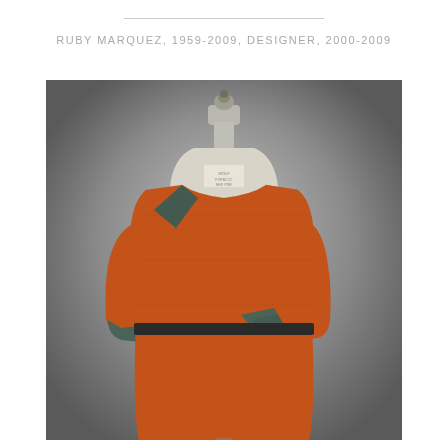RUBY MARQUEZ, 1959-2009, DESIGNER, 2000-2009
[Figure (photo): An orange tweed jacket and skirt ensemble displayed on a dressmaker's mannequin. The jacket features dark teal/grey geometric triangular accents on the collar and hem areas, with matching teal cuffs. The skirt is a coordinating long piece in the same orange tweed fabric. The garments are displayed against a grey gradient background.]